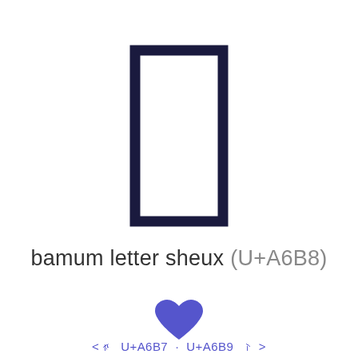[Figure (other): Large rendered glyph of the Bamum letter sheux (U+A6B8), displayed as a tall dark navy rectangle outline shape.]
bamum letter sheux (U+A6B8)
[Figure (other): Blue/purple heart icon (favorite/bookmark indicator)]
< ꚷ U+A6B7 · U+A6B9 ꚹ >